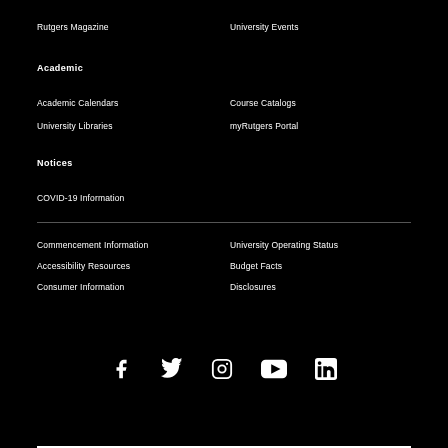Rutgers Magazine
University Events
Academic
Academic Calendars
Course Catalogs
University Libraries
myRutgers Portal
Notices
COVID-19 Information
Commencement Information
University Operating Status
Accessibility Resources
Budget Facts
Consumer Information
Disclosures
[Figure (infographic): Social media icons: Facebook, Twitter, Instagram, YouTube, LinkedIn]